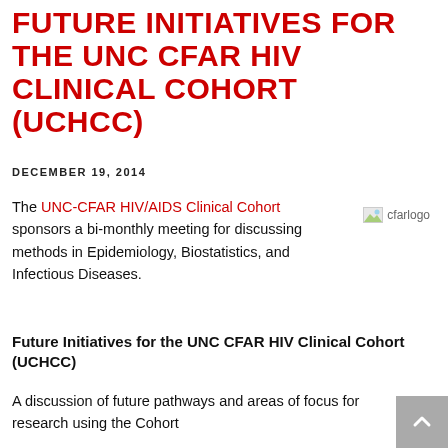FUTURE INITIATIVES FOR THE UNC CFAR HIV CLINICAL COHORT (UCHCC)
DECEMBER 19, 2014
The UNC-CFAR HIV/AIDS Clinical Cohort sponsors a bi-monthly meeting for discussing methods in Epidemiology, Biostatistics, and Infectious Diseases.
[Figure (logo): cfarlogo image placeholder]
Future Initiatives for the UNC CFAR HIV Clinical Cohort (UCHCC)
A discussion of future pathways and areas of focus for research using the Cohort